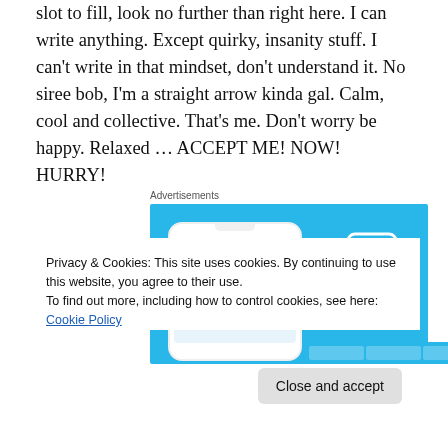slot to fill, look no further than right here. I can write anything. Except quirky, insanity stuff. I can't write in that mindset, don't understand it. No siree bob, I'm a straight arrow kinda gal. Calm, cool and collective. That's me. Don't worry be happy. Relaxed … ACCEPT ME! NOW! HURRY!
[Figure (illustration): Advertisement banner for DayOne app showing a phone mockup on a light blue background with the DayOne logo (bookmark icon and DAY ONE text) on the right side.]
Privacy & Cookies: This site uses cookies. By continuing to use this website, you agree to their use.
To find out more, including how to control cookies, see here: Cookie Policy
Close and accept